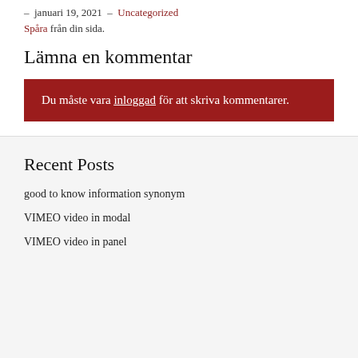– januari 19, 2021 – Uncategorized
Spåra från din sida.
Lämna en kommentar
Du måste vara inloggad för att skriva kommentarer.
Recent Posts
good to know information synonym
VIMEO video in modal
VIMEO video in panel